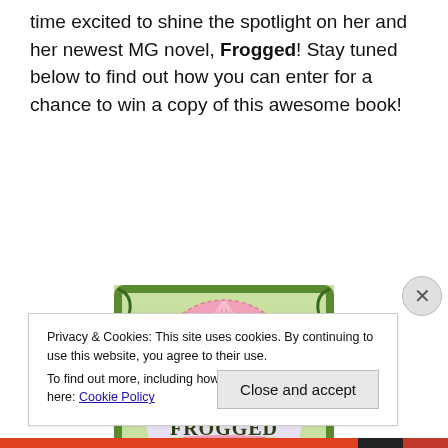time excited to shine the spotlight on her and her newest MG novel, Frogged! Stay tuned below to find out how you can enter for a chance to win a copy of this awesome book!
[Figure (illustration): Book cover of 'Frogged' — a green ornate illustrated border frames a pink oval with a frog wearing a crown in the center, flanked by two character portraits (a boy and a girl). The title 'FROGGED' is displayed in large decorative letters at the bottom.]
Privacy & Cookies: This site uses cookies. By continuing to use this website, you agree to their use.
To find out more, including how to control cookies, see here: Cookie Policy
Close and accept